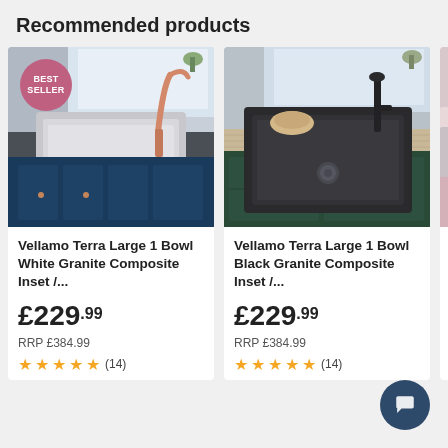Recommended products
[Figure (photo): Vellamo Terra Large 1 Bowl White Granite Composite Inset sink with rose gold tap on dark blue kitchen counter, with BEST SELLER badge]
Vellamo Terra Large 1 Bowl White Granite Composite Inset /...
£229.99
RRP £384.99
★★★★★ (14)
[Figure (photo): Vellamo Terra Large 1 Bowl Black Granite Composite Inset sink with black tap on wood-effect countertop over green kitchen cabinet]
Vellamo Terra Large 1 Bowl Black Granite Composite Inset /...
£229.99
RRP £384.99
★★★★★ (14)
[Figure (photo): Partial view of a third Vellamo sink product (cropped at right edge)]
Vella... Bowl... Gran...
£22...